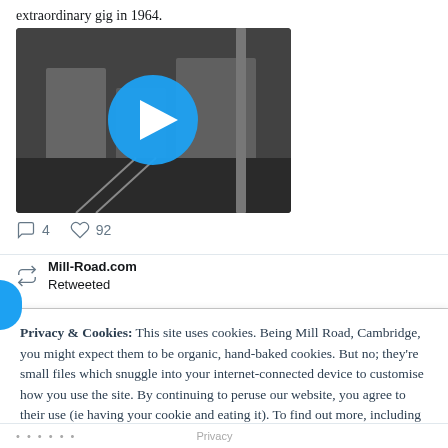extraordinary gig in 1964.
[Figure (photo): Black and white historical photo of two people near railway tracks with a blue play button overlay, indicating a video thumbnail.]
4   92
Mill-Road.com Retweeted
Privacy & Cookies: This site uses cookies. Being Mill Road, Cambridge, you might expect them to be organic, hand-baked cookies. But no; they're small files which snuggle into your internet-connected device to customise how you use the site. By continuing to peruse our website, you agree to their use (ie having your cookie and eating it). To find out more, including how to control cookies, see here: Cookie Policy
Accept (munch-munch)